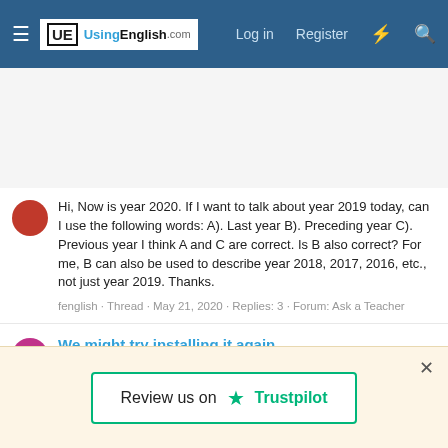UsingEnglish.com | Log in | Register
Hi, Now is year 2020. If I want to talk about year 2019 today, can I use the following words: A). Last year B). Preceding year C). Previous year I think A and C are correct. Is B also correct? For me, B can also be used to describe year 2018, 2017, 2016, etc., not just year 2019. Thanks.
fenglish · Thread · May 21, 2020 · Replies: 3 · Forum: Ask a Teacher
We might try installing it again
Hi, We want to install some software again on the server. And I say: A). We might try installing it again. B). We might try to install it
Review us on Trustpilot